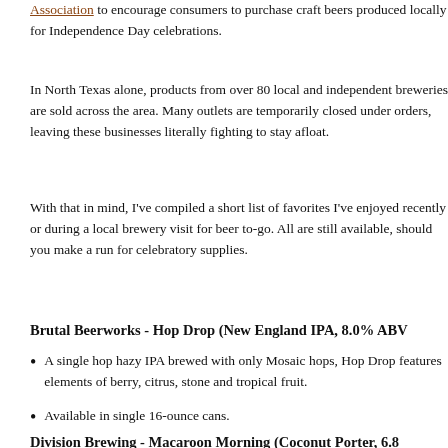Association to encourage consumers to purchase craft beers produced locally for Independence Day celebrations.
In North Texas alone, products from over 80 local and independent breweries are sold across the area. Many outlets are temporarily closed under orders, leaving these businesses literally fighting to stay afloat.
With that in mind, I've compiled a short list of favorites I've enjoyed recently or during a local brewery visit for beer to-go. All are still available, should you make a run for celebratory supplies.
Brutal Beerworks - Hop Drop (New England IPA, 8.0% ABV)
A single hop hazy IPA brewed with only Mosaic hops, Hop Drop features elements of berry, citrus, stone and tropical fruit.
Available in single 16-ounce cans.
Division Brewing - Macaroon Morning (Coconut Porter, 6.8%)